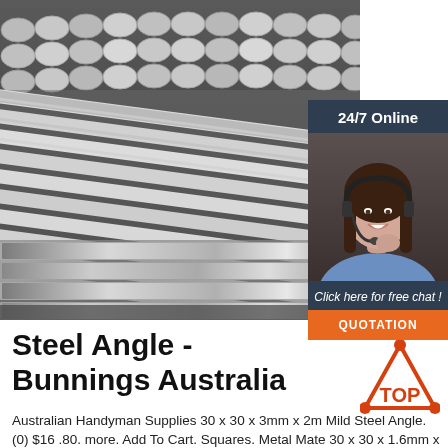[Figure (photo): Stacked steel angle rods/bars photographed from the end, showing circular cross-sections and ridged surfaces, in a warehouse setting.]
[Figure (infographic): 24/7 Online chat widget with a female customer service representative wearing a headset, and a button labelled QUOTATION, overlaid on a dark blue/grey background.]
Steel Angle - Bunnings Australia
[Figure (logo): TOP logo: a triangle shape with dots at corners and the word TOP in orange.]
Australian Handyman Supplies 30 x 30 x 3mm x 2m Mild Steel Angle. (0) $16 .80. more. Add To Cart. Squares. Metal Mate 30 x 30 x 1.6mm x 3.0